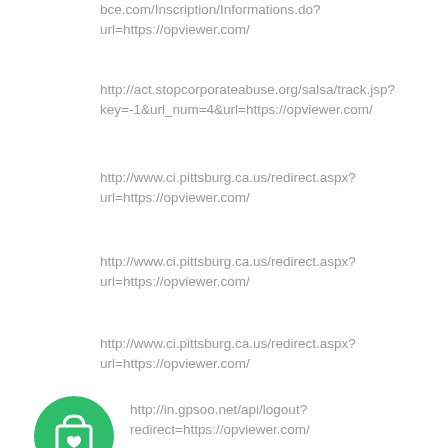bce.com/Inscription/Informations.do?url=https://opviewer.com/
http://act.stopcorporateabuse.org/salsa/track.jsp?key=-1&url_num=4&url=https://opviewer.com/
http://www.ci.pittsburg.ca.us/redirect.aspx?url=https://opviewer.com/
http://www.ci.pittsburg.ca.us/redirect.aspx?url=https://opviewer.com/
http://www.ci.pittsburg.ca.us/redirect.aspx?url=https://opviewer.com/
[Figure (illustration): Green circle icon with a shopping bag with a heart]
http://in.gpsoo.net/api/logout?redirect=https://opviewer.com/